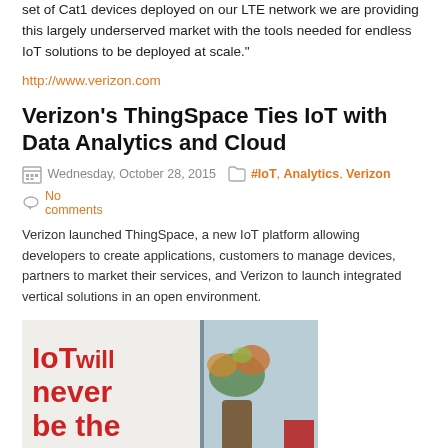set of Cat1 devices deployed on our LTE network we are providing this largely underserved market with the tools needed for endless IoT solutions to be deployed at scale."
http://www.verizon.com
Verizon's ThingSpace Ties IoT with Data Analytics and Cloud
Wednesday, October 28, 2015  #IoT, Analytics, Verizon  No comments
Verizon launched ThingSpace, a new IoT platform allowing developers to create applications, customers to manage devices, partners to market their services, and Verizon to launch integrated vertical solutions in an open environment.
[Figure (photo): Photo of a sign reading 'IoT will never be the same.' in large red text, with a flower arrangement visible on the right side.]